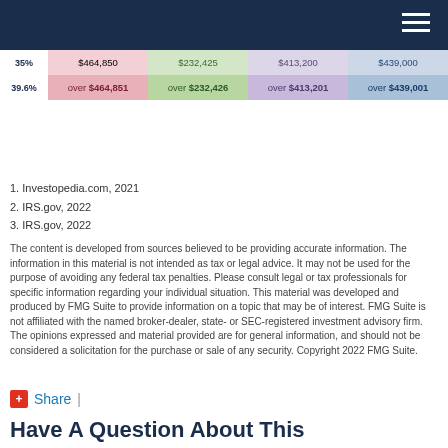| Rate | Single | Married Filing Jointly | Married Filing Separately | Head of Household |
| --- | --- | --- | --- | --- |
| 35% | $464,850 | $232,425 | $413,200 | $439,000 |
| 39.6% | over $464,851 | over $232,426 | over $413,201 | over $439,001 |
1. Investopedia.com, 2021
2. IRS.gov, 2022
3. IRS.gov, 2022
The content is developed from sources believed to be providing accurate information. The information in this material is not intended as tax or legal advice. It may not be used for the purpose of avoiding any federal tax penalties. Please consult legal or tax professionals for specific information regarding your individual situation. This material was developed and produced by FMG Suite to provide information on a topic that may be of interest. FMG Suite is not affiliated with the named broker-dealer, state- or SEC-registered investment advisory firm. The opinions expressed and material provided are for general information, and should not be considered a solicitation for the purchase or sale of any security. Copyright 2022 FMG Suite.
Share |
Have A Question About This